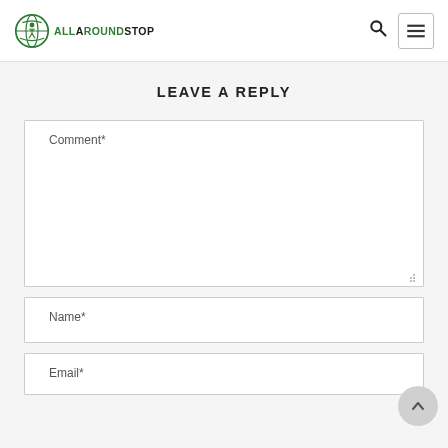ALLAROUNDSTOP — site header with logo, search icon, and menu button
LEAVE A REPLY
Comment*
Name*
Email*